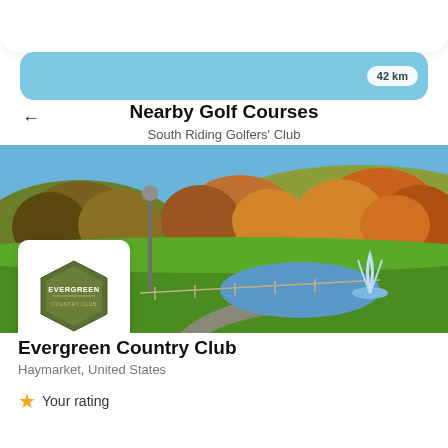Nearby Golf Courses
South Riding Golfers' Club
[Figure (photo): Autumn golf course landscape with pond, fountain, trees in fall foliage colors, green fairway, and a lamp post]
[Figure (logo): Evergreen Country Club hexagon logo in dark olive green with text EVERGREEN COUNTRY CLUB]
Evergreen Country Club
Haymarket, United States
Your rating